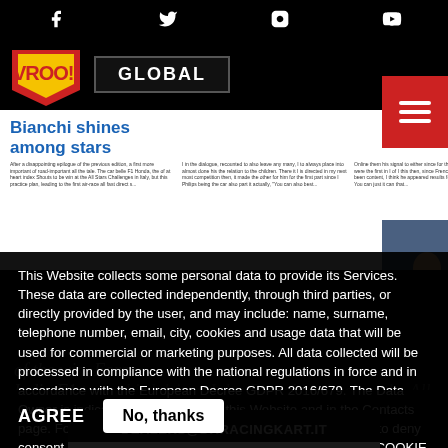Social media icons: Facebook, Twitter, Instagram, YouTube
[Figure (logo): VROO!! magazine logo in red/yellow with GLOBAL navigation bar]
[Figure (screenshot): Article preview: 'Bianchi shines among stars' with columns of text and photo of two people in racing gear]
This Website collects some personal data to provide its Services. These data are collected independently, through third parties, or directly provided by the user, and may include: name, surname, telephone number, email, city, cookies and usage data that will be used for commercial or marketing purposes. All data collected will be processed in compliance with the national regulations in force and in accordance with the European Decree GDPR 2016/679. The Data Owner is indicated at the bottom of this Website and in the Contacts page. For more information read the extensive privacy policy, to deny consent in whole or in part click "COOKIE PREFERENCES". COOKIE PREFERENCES
of the win, Force India F1 team third driver Jules Bianchi is back at the All
AGREE
No, thanks
DEALERS@DRRACINGKART.IT